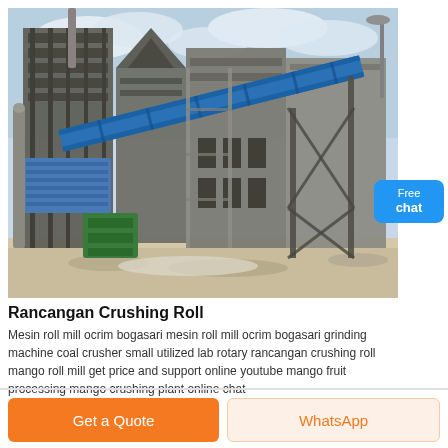[Figure (photo): Industrial crushing/milling plant facility with large steel structure framework, blue conveyor belt system running diagonally, tall concrete silos, green industrial equipment at base, construction debris on ground, overcast sky]
Rancangan Crushing Roll
Mesin roll mill ocrim bogasari mesin roll mill ocrim bogasari grinding machine coal crusher small utilized lab rotary rancangan crushing roll mango roll mill get price and support online youtube mango fruit processing mango crushing plant online chat
Get a Quote
WhatsApp